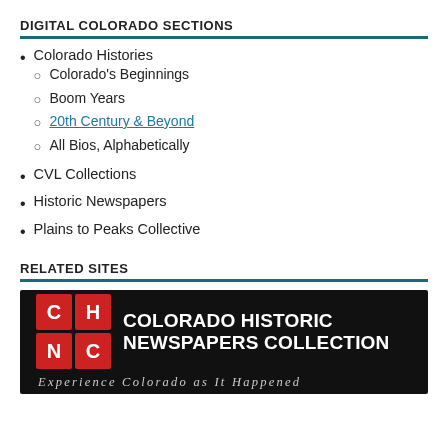DIGITAL COLORADO SECTIONS
Colorado Histories
Colorado's Beginnings
Boom Years
20th Century & Beyond
All Bios, Alphabetically
CVL Collections
Historic Newspapers
Plains to Peaks Collective
RELATED SITES
[Figure (logo): Colorado Historic Newspapers Collection logo banner — black background with red CHN/C logo grid and white bold text 'COLORADO HISTORIC NEWSPAPERS COLLECTION'. Tagline: 'Experience Colorado as It Happened']